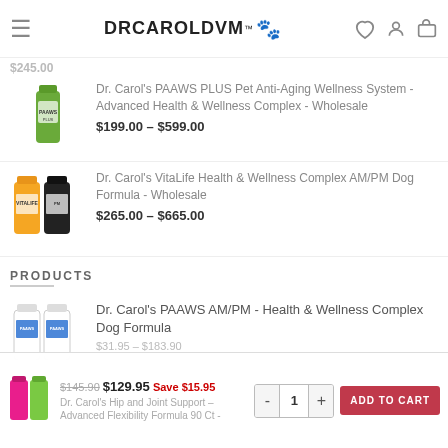DRCAROLDVM™🐾
$245.00
Dr. Carol's PAAWS PLUS Pet Anti-Aging Wellness System - Advanced Health & Wellness Complex - Wholesale
$199.00 – $599.00
Dr. Carol's VitaLife Health & Wellness Complex AM/PM Dog Formula - Wholesale
$265.00 – $665.00
PRODUCTS
Dr. Carol's PAAWS AM/PM - Health & Wellness Complex Dog Formula
$31.95 – $183.90
$145.90  $129.95  Save $15.95
Dr. Carol's Hip and Joint Support – Advanced Flexibility Formula 90 Ct -